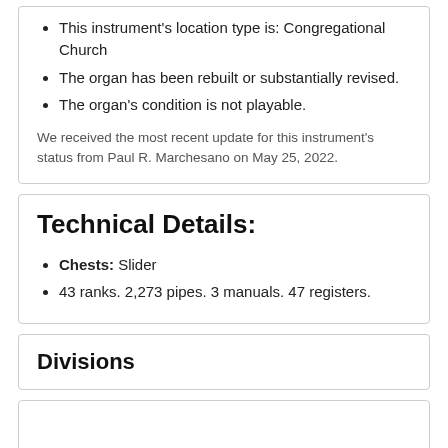This instrument's location type is: Congregational Church
The organ has been rebuilt or substantially revised.
The organ's condition is not playable.
We received the most recent update for this instrument's status from Paul R. Marchesano on May 25, 2022.
Technical Details:
Chests: Slider
43 ranks. 2,273 pipes. 3 manuals. 47 registers.
Divisions